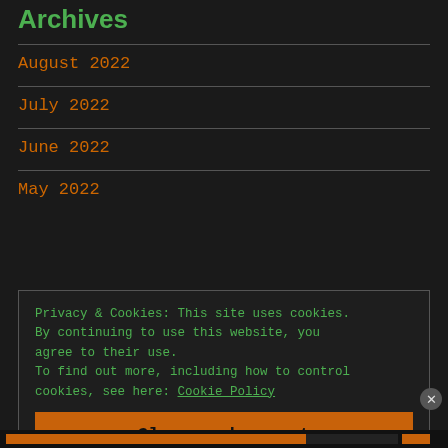Archives
August 2022
July 2022
June 2022
May 2022
Privacy & Cookies: This site uses cookies. By continuing to use this website, you agree to their use.
To find out more, including how to control cookies, see here: Cookie Policy
Close and accept